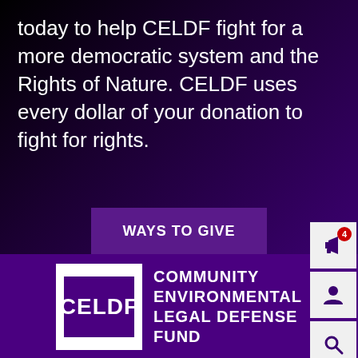today to help CELDF fight for a more democratic system and the Rights of Nature. CELDF uses every dollar of your donation to fight for rights.
[Figure (screenshot): WAYS TO GIVE button with purple background, and sidebar icons (megaphone with notification badge '4', user profile icon, search icon)]
[Figure (logo): CELDF Community Environmental Legal Defense Fund logo — white square containing purple CELDF text box, beside white bold text reading COMMUNITY ENVIRONMENTAL LEGAL DEFENSE FUND]